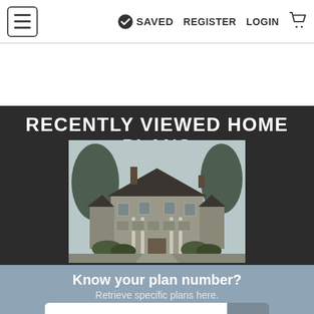≡  ✔ SAVED  REGISTER  LOGIN  🛒
[Figure (screenshot): White advertisement/banner space below navigation bar]
RECENTLY VIEWED HOME PLANS
[Figure (illustration): Illustration of a large two-story colonial-style house with trees, shown in grayscale/dark tones]
Know your plan number?
Retrieve specific plans here.
Lookup plan #  Go